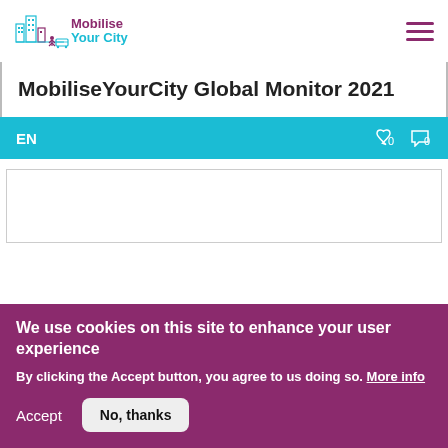[Figure (logo): Mobilise Your City logo with city illustration and text 'Mobilise Your City']
MobiliseYourCity Global Monitor 2021
EN  ♡0  💬0
We use cookies on this site to enhance your user experience
By clicking the Accept button, you agree to us doing so. More info
Accept  No, thanks